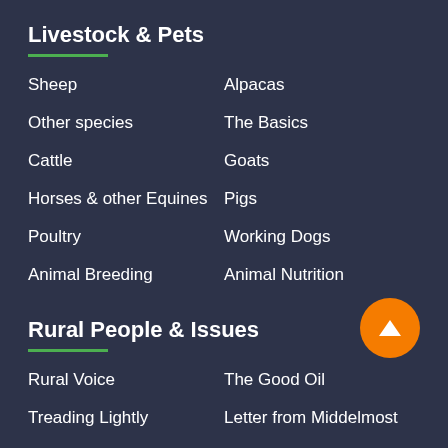Livestock & Pets
Sheep
Alpacas
Other species
The Basics
Cattle
Goats
Horses & other Equines
Pigs
Poultry
Working Dogs
Animal Breeding
Animal Nutrition
Rural People & Issues
Rural Voice
The Good Oil
Treading Lightly
Letter from Middelmost